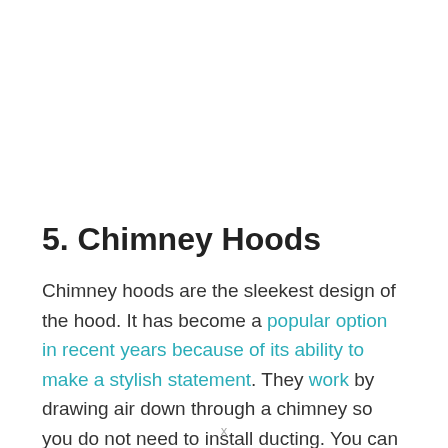5. Chimney Hoods
Chimney hoods are the sleekest design of the hood. It has become a popular option in recent years because of its ability to make a stylish statement. They work by drawing air down through a chimney so you do not need to install ducting. You can then filter out smoke and smells or recirculate them into your kitchen using an